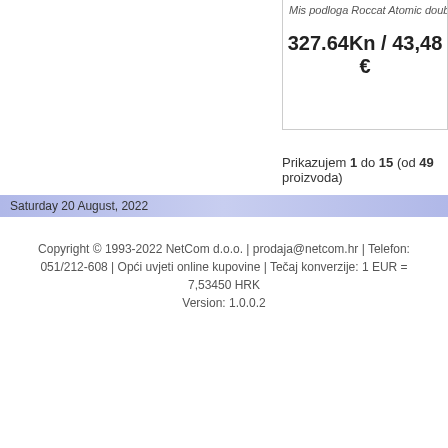Mis podloga Roccat Atomic double sided
327.64Kn / 43,48 €
Prikazujem 1 do 15 (od 49 proizvoda)
Saturday 20 August, 2022
Copyright © 1993-2022 NetCom d.o.o. | prodaja@netcom.hr | Telefon: 051/212-608 | Opći uvjeti online kupovine | Tečaj konverzije: 1 EUR = 7,53450 HRK Version: 1.0.0.2